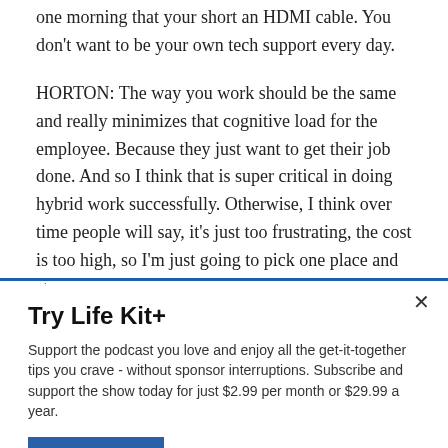one morning that your short an HDMI cable. You don't want to be your own tech support every day.
HORTON: The way you work should be the same and really minimizes that cognitive load for the employee. Because they just want to get their job done. And so I think that is super critical in doing hybrid work successfully. Otherwise, I think over time people will say, it's just too frustrating, the cost is too high, so I'm just going to pick one place and stay
Try Life Kit+
Support the podcast you love and enjoy all the get-it-together tips you crave - without sponsor interruptions. Subscribe and support the show today for just $2.99 per month or $29.99 a year.
SUBSCRIBE